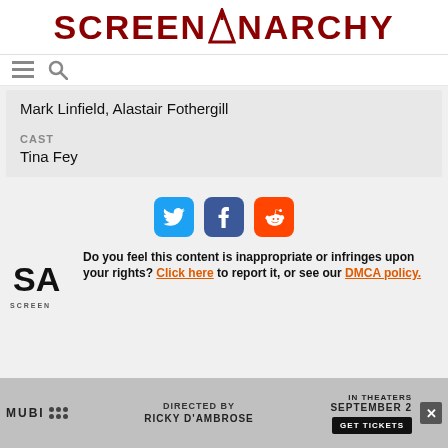SCREENANARCHY
Mark Linfield, Alastair Fothergill
CAST
Tina Fey
[Figure (infographic): Social share buttons: Twitter (blue), Facebook (dark blue), Reddit (orange)]
[Figure (logo): Screen Anarchy SA logo]
Do you feel this content is inappropriate or infringes upon your rights? Click here to report it, or see our DMCA policy.
DIRECTED BY RICKY D'AMBROSE | IN THEATERS SEPTEMBER 2 | GET TICKETS | MUBI